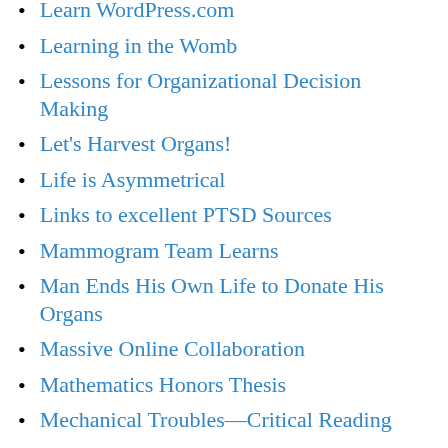Learn WordPress.com
Learning in the Womb
Lessons for Organizational Decision Making
Let's Harvest Organs!
Life is Asymmetrical
Links to excellent PTSD Sources
Mammogram Team Learns
Man Ends His Own Life to Donate His Organs
Massive Online Collaboration
Mathematics Honors Thesis
Mechanical Troubles—Critical Reading
Men Define Rape
Mitt Romney Not a Venture Capitalist
Model Definition (Category) Essay
Model Proposal+5
Model Purposeful Summaries